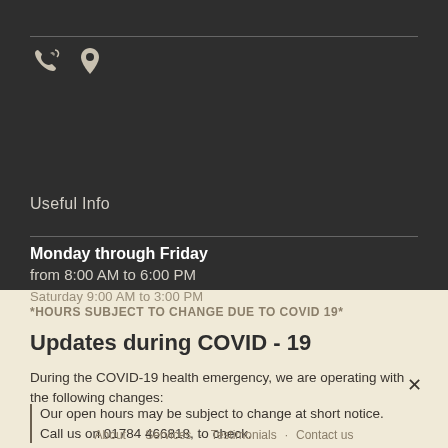[Figure (illustration): Phone and map pin icons in dark header area]
Useful Info
Monday through Friday
from 8:00 AM to 6:00 PM
Saturday 9:00 AM to 3:00 PM
*HOURS SUBJECT TO CHANGE DUE TO COVID 19*
Updates during COVID - 19
During the COVID-19 health emergency, we are operating with the following changes:
Our open hours may be subject to change at short notice. Call us on 01784 466818, to check.
About   Services   Testimonials   Contact us